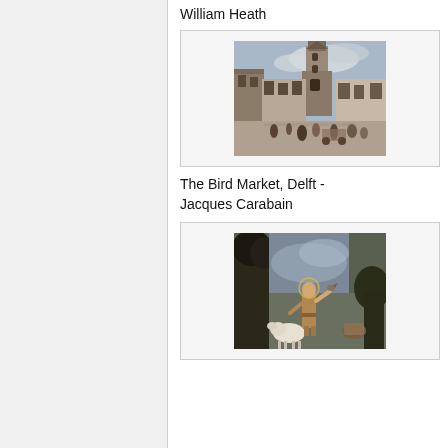William Heath
[Figure (illustration): Painting of The Bird Market, Delft - a street scene with a tall church tower, old buildings, and figures in a market setting]
The Bird Market, Delft - Jacques Carabain
[Figure (illustration): Painting of a young saint or child figure with a lamb and a bird, set in a landscape with dark trees and dramatic sky]